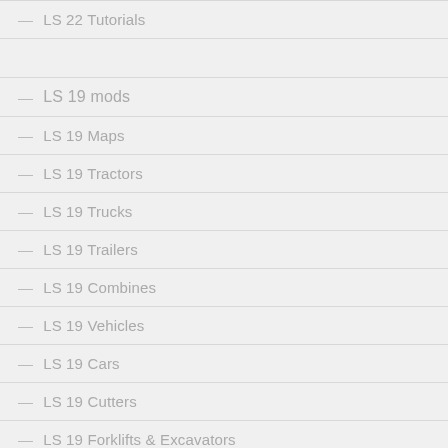— LS 22 Tutorials
— LS 19 mods
— LS 19 Maps
— LS 19 Tractors
— LS 19 Trucks
— LS 19 Trailers
— LS 19 Combines
— LS 19 Vehicles
— LS 19 Cars
— LS 19 Cutters
— LS 19 Forklifts & Excavators
— LS 19 Implements & Tools